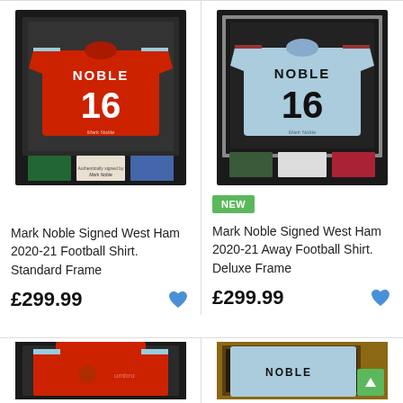[Figure (photo): Mark Noble signed West Ham 2020-21 home football shirt in a standard black frame with small photos below]
[Figure (photo): Mark Noble signed West Ham 2020-21 away football shirt (light blue) in a deluxe black frame with small photos below]
NEW
Mark Noble Signed West Ham 2020-21 Football Shirt. Standard Frame
Mark Noble Signed West Ham 2020-21 Away Football Shirt. Deluxe Frame
£299.99
£299.99
[Figure (photo): Partial view of a framed West Ham signed shirt (bottom row left)]
[Figure (photo): Partial view of a framed West Ham signed shirt showing NOBLE 16 (bottom row right)]